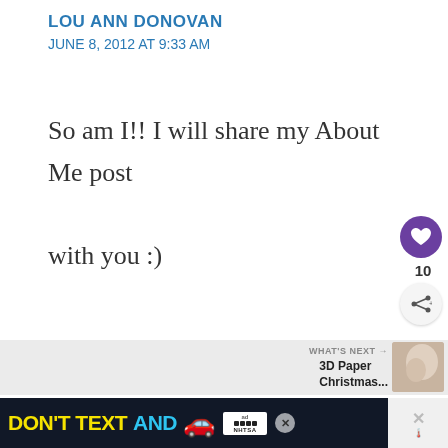LOU ANN DONOVAN
JUNE 8, 2012 AT 9:33 AM
So am I!! I will share my About Me post

with you :)
[Figure (infographic): Purple circular like/heart button with heart icon, like count of 10, and circular share button with share icon]
[Figure (infographic): What's Next panel with thumbnail image and text '3D Paper Christmas...']
[Figure (infographic): Ad banner: DON'T TEXT AND [car emoji] with NHTSA logo and close button]